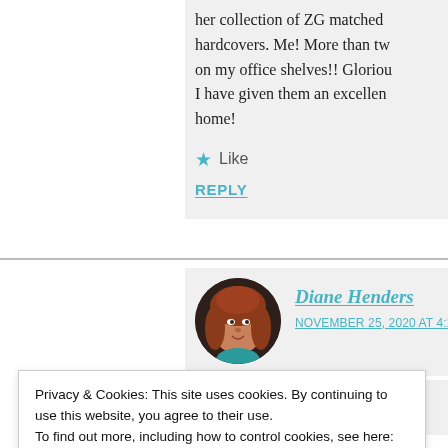her collection of ZG matched hardcovers. Me! More than tw on my office shelves!! Gloriou I have given them an excellen home!
★ Like
REPLY
Diane Henders
NOVEMBER 25, 2020 AT 4:26
Privacy & Cookies: This site uses cookies. By continuing to use this website, you agree to their use.
To find out more, including how to control cookies, see here: Our Cookie Policy
Close and accept